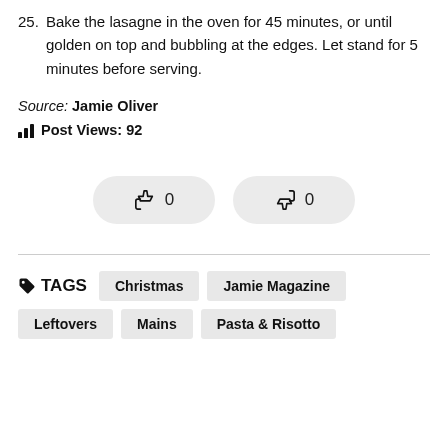25. Bake the lasagne in the oven for 45 minutes, or until golden on top and bubbling at the edges. Let stand for 5 minutes before serving.
Source: Jamie Oliver
Post Views: 92
[Figure (other): Thumbs up button with count 0 and thumbs down button with count 0]
TAGS  Christmas  Jamie Magazine  Leftovers  Mains  Pasta & Risotto